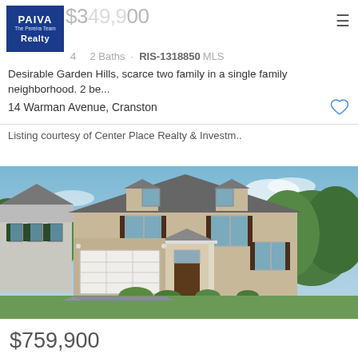[Figure (logo): PAIVA The Pereira Team Realty logo in blue square]
$349,900
4  2 Baths · RIS-1318850 MLS
Desirable Garden Hills, scarce two family in a single family neighborhood. 2 be...
14 Warman Avenue, Cranston
Listing courtesy of Center Place Realty & Investm..
[Figure (photo): Exterior photo of a two-story colonial-style home with attached two-car garage, beige/tan siding, dark shutters, large front lawn, driveway, and trees in background]
$759,900